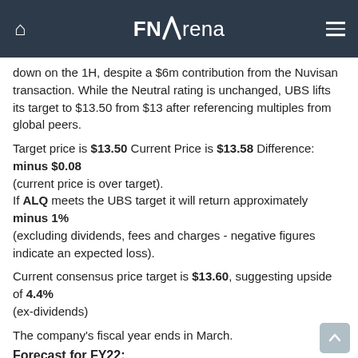FNArena
down on the 1H, despite a $6m contribution from the Nuvisan transaction. While the Neutral rating is unchanged, UBS lifts its target to $13.50 from $13 after referencing multiples from global peers.
Target price is $13.50 Current Price is $13.58 Difference: minus $0.08 (current price is over target).
If ALQ meets the UBS target it will return approximately minus 1% (excluding dividends, fees and charges - negative figures indicate an expected loss).
Current consensus price target is $13.60, suggesting upside of 4.4% (ex-dividends)
The company's fiscal year ends in March.
Forecast for FY22:
UBS forecasts a full year FY22 dividend of 32.00 cents and EPS of 52.00 cents.
At the last closing share price the estimated dividend yield is 2.36%.
At the last closing share price the stock's estimated Price to Earnings Ratio (PER) is 26.12.
How do these forecasts compare to market consensus